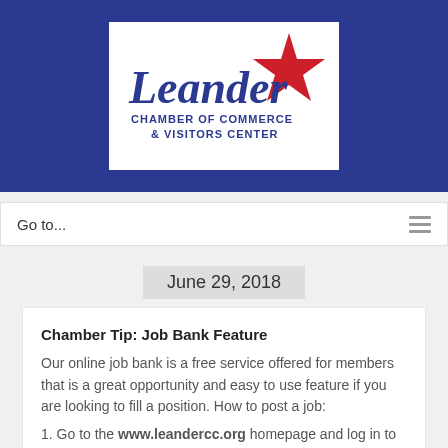[Figure (logo): Leander Chamber of Commerce & Visitors Center logo with red star and blue italic text on white background]
Go to...
June 29, 2018
Chamber Tip: Job Bank Feature
Our online job bank is a free service offered for members that is a great opportunity and easy to use feature if you are looking to fill a position. How to post a job:
1. Go to the www.leandercc.org homepage and log in to your 'Members Only' account. If you do